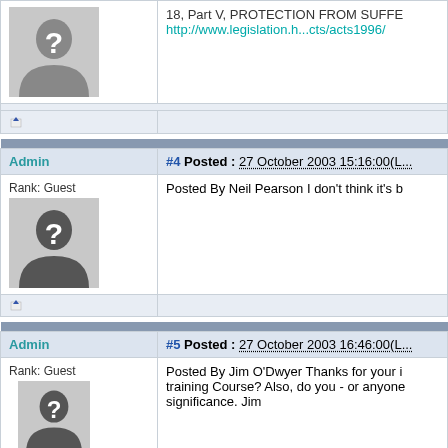[Figure (screenshot): Forum thread screenshot showing forum posts with user avatars (question mark silhouette images), admin labels, post numbers, dates, and partial post content for posts #4 and #5, plus a partial post at the top.]
18, Part V, PROTECTION FROM SUFFE...
http://www.legislation.h...cts/acts1996/...
Admin
#4 Posted : 27 October 2003 15:16:00(L...
Rank: Guest
Posted By Neil Pearson I don't think it's b...
Admin
#5 Posted : 27 October 2003 16:46:00(L...
Rank: Guest
Posted By Jim O'Dwyer Thanks for your i... training Course? Also, do you - or anyone... significance. Jim